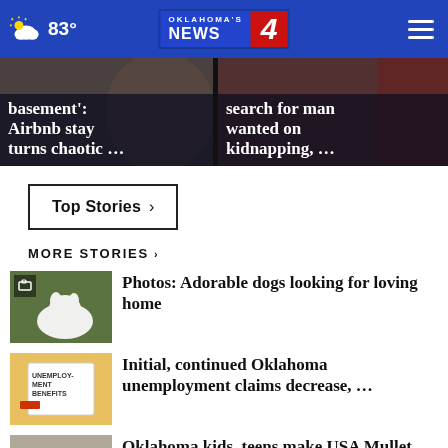83° Oklahoma's News 4
basement': Airbnb stay turns chaotic …
search for man wanted on kidnapping, …
Top Stories ›
MORE STORIES ›
Photos: Adorable dogs looking for loving home
Initial, continued Oklahoma unemployment claims decrease, …
Oklahoma kids, teens make USA Mullet Championships …